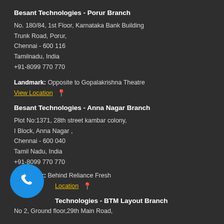Besant Technologies - Porur Branch
No. 180/84, 1st Floor, Karnataka Bank Building
Trunk Road, Porur,
Chennai - 600 116
Tamilnadu, India
+91-8099 770 770
Landmark: Opposite to Gopalakrishna Theatre
View Location 📍
Besant Technologies - Anna Nagar Branch
Plot No:1371, 28th street kambar colony,
I Block, Anna Nagar ,
Chennai - 600 040
Tamil Nadu, India
+91-8099 770 770
Landmark: Behind Reliance Fresh
View Location 📍
[Figure (illustration): Blue circular phone call button with white handset icon]
Besant Technologies - BTM Layout Branch
No 2, Ground floor,29th Main Road,